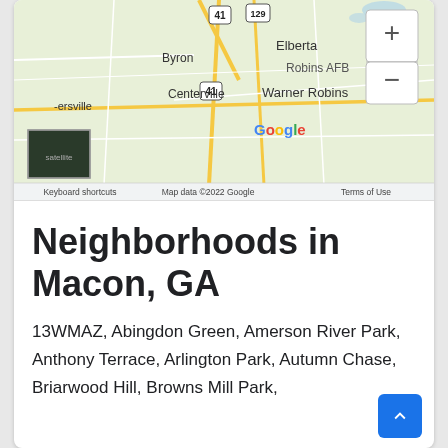[Figure (map): Google Maps screenshot showing the Warner Robins / Macon area in Georgia, with labels for Byron, Centerville, Elberta, Robins AFB, Warner Robins, and a partial label for -ersville. A satellite thumbnail is visible in the lower left. Zoom controls (+ and -) appear in the upper right. Map footer reads: Keyboard shortcuts | Map data ©2022 Google | Terms of Use. Google logo is visible.]
Neighborhoods in Macon, GA
13WMAZ, Abingdon Green, Amerson River Park, Anthony Terrace, Arlington Park, Autumn Chase, Briarwood Hill, Browns Mill Park,